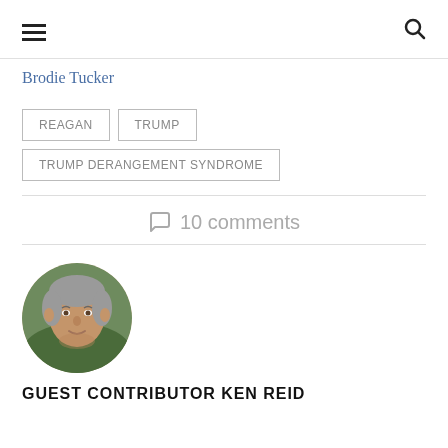☰ 🔍
Brodie Tucker
REAGAN
TRUMP
TRUMP DERANGEMENT SYNDROME
10 comments
[Figure (photo): Circular headshot photo of a man with gray hair, middle-aged, smiling slightly, outdoors background]
GUEST CONTRIBUTOR KEN REID